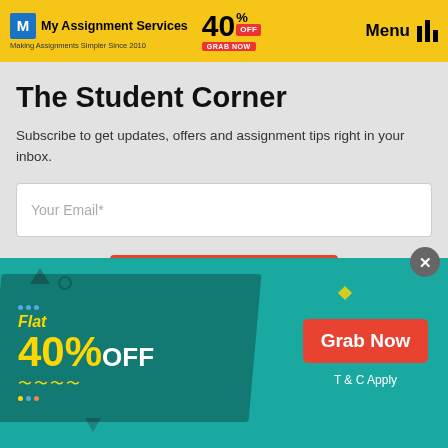My Assignment Services — Making Assignments Simpler Since 2010 | 40% OFF — GRAB NOW | Menu
The Student Corner
Subscribe to get updates, offers and assignment tips right in your inbox.
[Figure (screenshot): Email input field with placeholder text 'Your Email*']
[Figure (screenshot): Red Subscribe button]
[Figure (infographic): Teal promotional banner showing 'Flat 40% OFF' with a 'Grab Now' red button and 'T & C Apply' text]